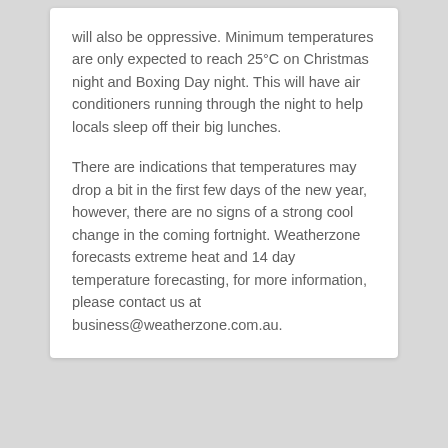will also be oppressive. Minimum temperatures are only expected to reach 25°C on Christmas night and Boxing Day night. This will have air conditioners running through the night to help locals sleep off their big lunches.
There are indications that temperatures may drop a bit in the first few days of the new year, however, there are no signs of a strong cool change in the coming fortnight. Weatherzone forecasts extreme heat and 14 day temperature forecasting, for more information, please contact us at business@weatherzone.com.au.